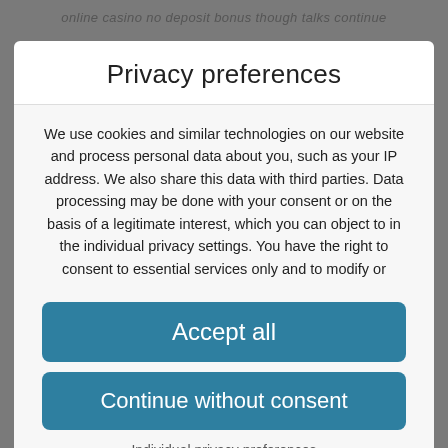online casino no deposit bonus though talks continue
Privacy preferences
We use cookies and similar technologies on our website and process personal data about you, such as your IP address. We also share this data with third parties. Data processing may be done with your consent or on the basis of a legitimate interest, which you can object to in the individual privacy settings. You have the right to consent to essential services only and to modify or
Accept all
Continue without consent
Individual privacy preferences
Privacy policy
WordPress Cookie Plugin by Real Cookie Banner
the slotassure social casino app in english app store